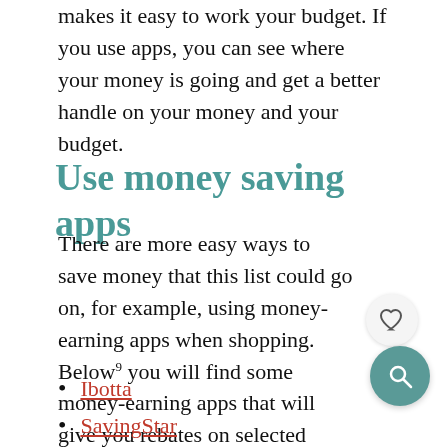makes it easy to work your budget. If you use apps, you can see where your money is going and get a better handle on your money and your budget.
Use money saving apps
There are more easy ways to save money that this list could go on, for example, using money-earning apps when shopping. Below⁹ you will find some money-earning apps that will give you rebates on selected purchases:
Ibotta
SavingStar
Checkout51